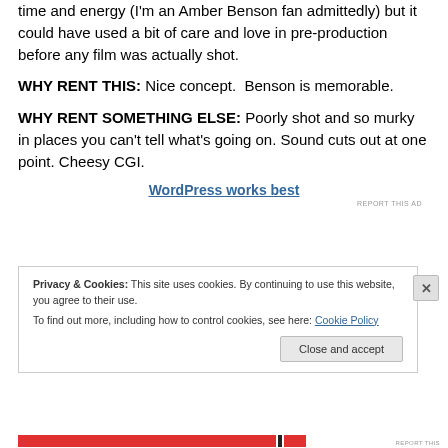time and energy (I'm an Amber Benson fan admittedly) but it could have used a bit of care and love in pre-production before any film was actually shot.
WHY RENT THIS: Nice concept.  Benson is memorable.
WHY RENT SOMETHING ELSE: Poorly shot and so murky in places you can't tell what's going on. Sound cuts out at one point. Cheesy CGI.
WordPress works best
REPORT THIS AD
Privacy & Cookies: This site uses cookies. By continuing to use this website, you agree to their use.
To find out more, including how to control cookies, see here: Cookie Policy
Close and accept
REPORT THIS